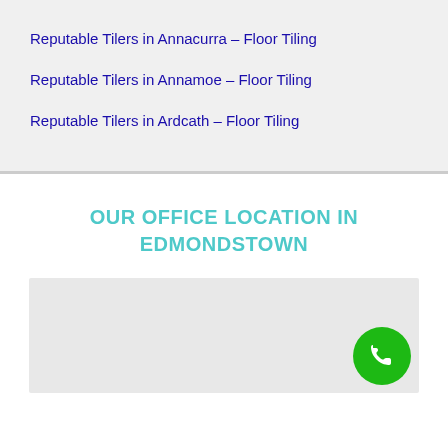Reputable Tilers in Annacurra – Floor Tiling
Reputable Tilers in Annamoe – Floor Tiling
Reputable Tilers in Ardcath – Floor Tiling
OUR OFFICE LOCATION IN EDMONDSTOWN
[Figure (map): Embedded map showing office location in Edmondstown, with a green phone button overlay in the bottom-right corner]